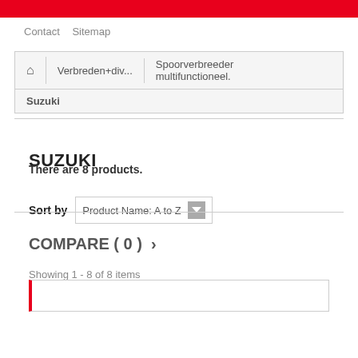Contact  Sitemap
Verbreden+div... > Spoorverbreeder multifunctioneel. > Suzuki
SUZUKI
There are 8 products.
Sort by  Product Name: A to Z
COMPARE ( 0 )  >
Showing 1 - 8 of 8 items